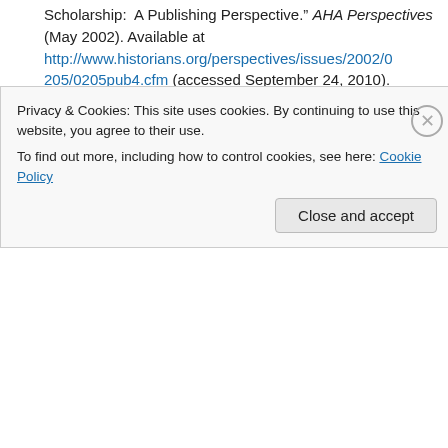Scholarship: A Publishing Perspective." AHA Perspectives (May 2002). Available at http://www.historians.org/perspectives/issues/2002/0205/0205pub4.cfm (accessed September 24, 2010).
59. Wittenberg, Kate. "Scholarly Editing in the Digital Age." Chronicle Review (June 20, 2003). Available at http://chronicle.com/article/Scholarly-Editing-in-the-Di/18724/ (accessed September 24, 2010).
60. Xia, Jingfeng. "Electronic Publishing in Archaeology." Journal of Scholarly Publishing 37 (July 2006): 270-287.
Privacy & Cookies: This site uses cookies. By continuing to use this website, you agree to their use. To find out more, including how to control cookies, see here: Cookie Policy